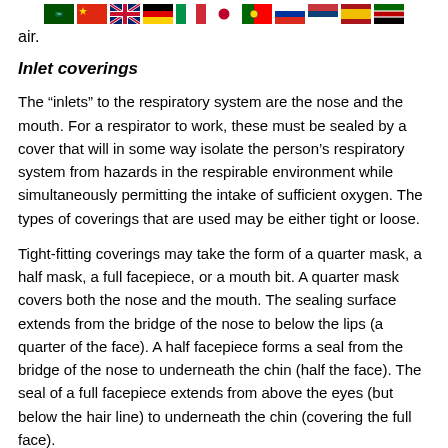[Figure (other): Row of country flags: Saudi Arabia, China, UK, Germany, Italy, Japan, Portugal, Russia, Serbia, Spain, Kenya]
air.
Inlet coverings
The “inlets” to the respiratory system are the nose and the mouth. For a respirator to work, these must be sealed by a cover that will in some way isolate the person’s respiratory system from hazards in the respirable environment while simultaneously permitting the intake of sufficient oxygen. The types of coverings that are used may be either tight or loose.
Tight-fitting coverings may take the form of a quarter mask, a half mask, a full facepiece, or a mouth bit. A quarter mask covers both the nose and the mouth. The sealing surface extends from the bridge of the nose to below the lips (a quarter of the face). A half facepiece forms a seal from the bridge of the nose to underneath the chin (half the face). The seal of a full facepiece extends from above the eyes (but below the hair line) to underneath the chin (covering the full face).